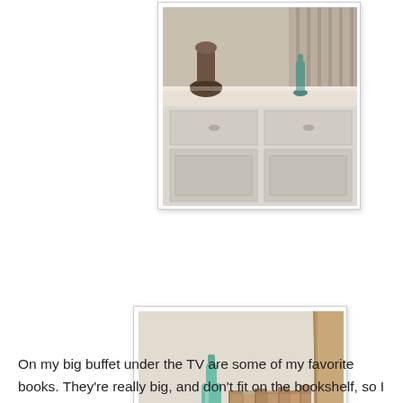[Figure (photo): Photo of a white painted buffet/sideboard with drawers, decorative vase and teal bottle on top, against a striped curtain background.]
[Figure (photo): Photo of a bookshelf interior showing a teal glass bottle and a row of brown paper-covered books standing upright on a light pink/beige shelf.]
On my big buffet under the TV are some of my favorite books. They're really big, and don't fit on the bookshelf, so I